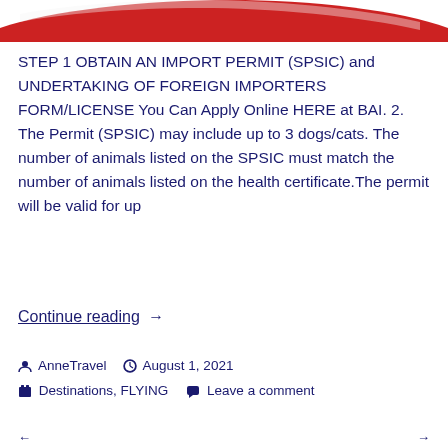[Figure (illustration): Partial view of a red and white graphic element at the top of the page, appearing to be a flag or banner image cropped at the bottom]
STEP 1 OBTAIN AN IMPORT PERMIT (SPSIC) and UNDERTAKING OF FOREIGN IMPORTERS FORM/LICENSE You Can Apply Online HERE at BAI. 2. The Permit (SPSIC) may include up to 3 dogs/cats. The number of animals listed on the SPSIC must match the number of animals listed on the health certificate.The permit will be valid for up
Continue reading  →
AnneTravel   August 1, 2021
Destinations, FLYING   Leave a comment
← →